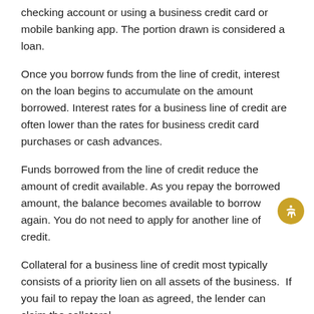checking account or using a business credit card or mobile banking app. The portion drawn is considered a loan.
Once you borrow funds from the line of credit, interest on the loan begins to accumulate on the amount borrowed. Interest rates for a business line of credit are often lower than the rates for business credit card purchases or cash advances.
Funds borrowed from the line of credit reduce the amount of credit available. As you repay the borrowed amount, the balance becomes available to borrow again. You do not need to apply for another line of credit.
Collateral for a business line of credit most typically consists of a priority lien on all assets of the business.  If you fail to repay the loan as agreed, the lender can claim the collateral.
What Else You Should Know
When taking an application for a business line of credit, lenders typically require documentation that can include personal and